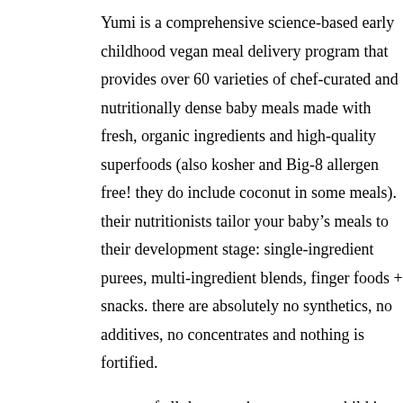Yumi is a comprehensive science-based early childhood vegan meal delivery program that provides over 60 varieties of chef-curated and nutritionally dense baby meals made with fresh, organic ingredients and high-quality superfoods (also kosher and Big-8 allergen free! they do include coconut in some meals).  their nutritionists tailor your baby's meals to their development stage: single-ingredient purees, multi-ingredient blends, finger foods + snacks. there are absolutely no synthetics, no additives, no concentrates and nothing is fortified.
on top of all that amazingness, your child is going to be introduced to so many unique foods.  one of josie's first foods was chard … I don't think I even knew what chard was until a few years ago.  and she liked it!!  I never ever would have considered making that for her.  she's also had kale + purple sweet potato – again, something I never would have made for